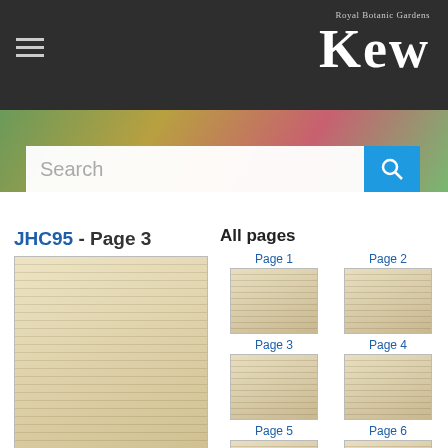Royal Botanic Gardens Kew
[Figure (screenshot): Search bar with text placeholder 'Search' and blue search button with magnifying glass icon]
JHC95 - Page 3
[Figure (photo): Handwritten manuscript document page, aged paper with cursive handwriting throughout]
All pages
Page 1
[Figure (photo): Thumbnail of handwritten manuscript page 1]
Page 2
[Figure (photo): Thumbnail of handwritten manuscript page 2]
Page 3
[Figure (photo): Thumbnail of handwritten manuscript page 3]
Page 4
[Figure (photo): Thumbnail of handwritten manuscript page 4]
Page 5
[Figure (photo): Thumbnail of handwritten manuscript page 5]
Page 6
[Figure (photo): Thumbnail of handwritten manuscript page 6]